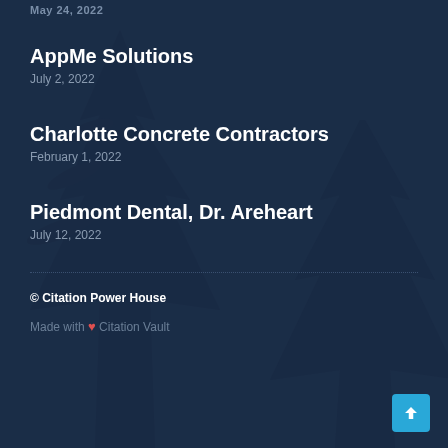May 24, 2022
AppMe Solutions
July 2, 2022
Charlotte Concrete Contractors
February 1, 2022
Piedmont Dental, Dr. Areheart
July 12, 2022
© Citation Power House
Made with ❤ Citation Vault